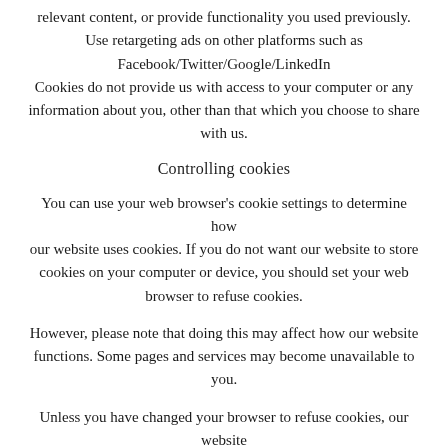relevant content, or provide functionality you used previously. Use retargeting ads on other platforms such as Facebook/Twitter/Google/LinkedIn Cookies do not provide us with access to your computer or any information about you, other than that which you choose to share with us.
Controlling cookies
You can use your web browser's cookie settings to determine how our website uses cookies. If you do not want our website to store cookies on your computer or device, you should set your web browser to refuse cookies.
However, please note that doing this may affect how our website functions. Some pages and services may become unavailable to you.
Unless you have changed your browser to refuse cookies, our website will issue cookies when you visit it.
To learn more about cookies and how they are used, visit All About Cookies.
We will never lease, distribute or sell your personal information to third parties unless we have your permission or the law requires us